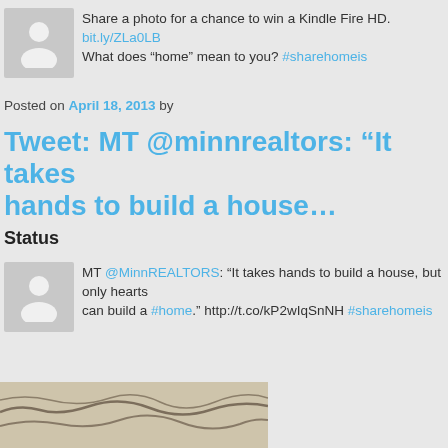[Figure (illustration): Generic user avatar icon with grey background]
Share a photo for a chance to win a Kindle Fire HD. bit.ly/ZLa0LB
What does “home” mean to you? #sharehomeis
Posted on April 18, 2013 by
Tweet: MT @minnrealtors: “It takes hands to build a house…
Status
[Figure (illustration): Generic user avatar icon with grey background]
MT @MinnREALTORS: “It takes hands to build a house, but only hearts can build a #home.” http://t.co/kP2wIqSnNH #sharehomeis
[Figure (photo): Close-up photo of a textured surface with dark curved line patterns, possibly a cracked or ridged natural surface]